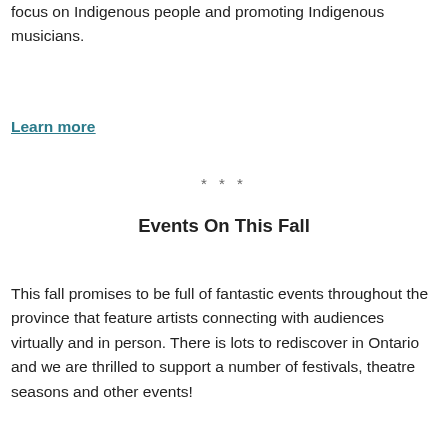focus on Indigenous people and promoting Indigenous musicians.
Learn more
***
Events On This Fall
This fall promises to be full of fantastic events throughout the province that feature artists connecting with audiences virtually and in person. There is lots to rediscover in Ontario and we are thrilled to support a number of festivals, theatre seasons and other events!